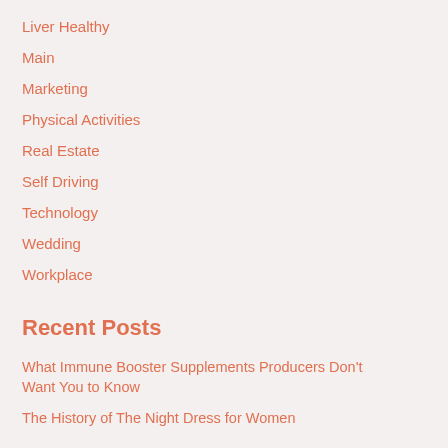Liver Healthy
Main
Marketing
Physical Activities
Real Estate
Self Driving
Technology
Wedding
Workplace
Recent Posts
What Immune Booster Supplements Producers Don't Want You to Know
The History of The Night Dress for Women